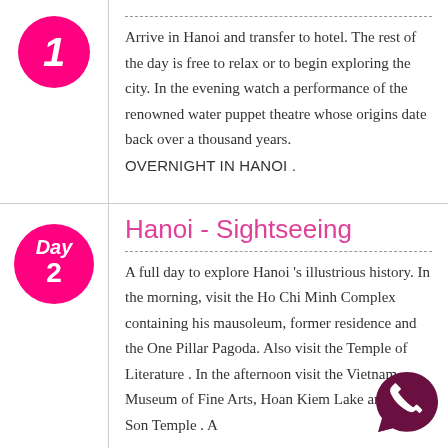Arrive in Hanoi and transfer to hotel. The rest of the day is free to relax or to begin exploring the city. In the evening watch a performance of the renowned water puppet theatre whose origins date back over a thousand years. OVERNIGHT IN HANOI .
Hanoi - Sightseeing
A full day to explore Hanoi 's illustrious history. In the morning, visit the Ho Chi Minh Complex containing his mausoleum, former residence and the One Pillar Pagoda. Also visit the Temple of Literature . In the afternoon visit the Vietnam Museum of Fine Arts, Hoan Kiem Lake and Ngoc Son Temple . A
[Figure (logo): WhatsApp logo - speech bubble with phone handset icon in dark maroon/purple color]